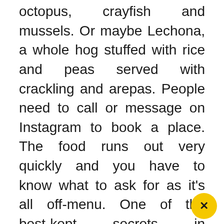octopus, crayfish and mussels. Or maybe Lechona, a whole hog stuffed with rice and peas served with crackling and arepas. People need to call or message on Instagram to book a place. The food runs out very quickly and you have to know what to ask for as it's all off-menu. One of the best-kept secrets in Manchester? Well, not any more. Me and my big mouth.
Stockport is well worth a day out if you're not local. There are cool record, book and clothing shops, the Hat Museum (currently under refurb) and the tunnels. There are classic pubs like the Queen's Head where using your mobile phone will get you booted out and the lack of music lends itself to nourishing conversations with strangers – something we've all sorely missed. There are more modern bars too, like